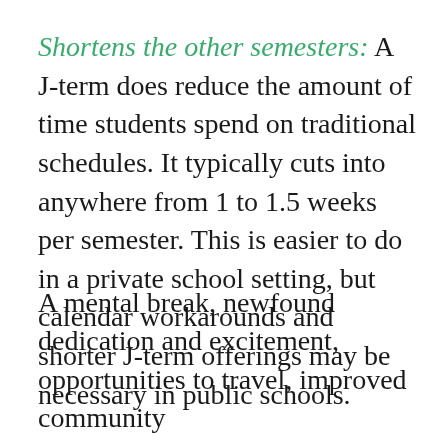Shortens the other semesters: A J-term does reduce the amount of time students spend on traditional schedules. It typically cuts into anywhere from 1 to 1.5 weeks per semester. This is easier to do in a private school setting, but calendar workarounds and shorter J-term offerings may be necessary in public schools.
A mental break, newfound dedication and excitement, opportunities to travel, improved community...